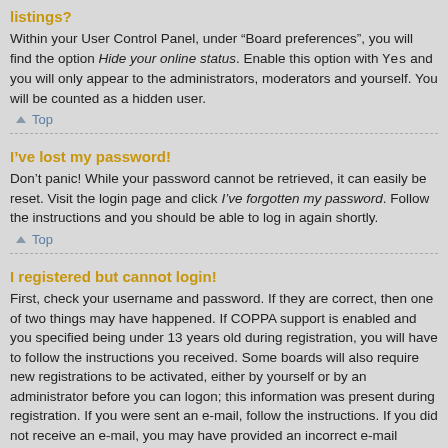listings?
Within your User Control Panel, under “Board preferences”, you will find the option Hide your online status. Enable this option with Yes and you will only appear to the administrators, moderators and yourself. You will be counted as a hidden user.
Top
I’ve lost my password!
Don’t panic! While your password cannot be retrieved, it can easily be reset. Visit the login page and click I’ve forgotten my password. Follow the instructions and you should be able to log in again shortly.
Top
I registered but cannot login!
First, check your username and password. If they are correct, then one of two things may have happened. If COPPA support is enabled and you specified being under 13 years old during registration, you will have to follow the instructions you received. Some boards will also require new registrations to be activated, either by yourself or by an administrator before you can logon; this information was present during registration. If you were sent an e-mail, follow the instructions. If you did not receive an e-mail, you may have provided an incorrect e-mail address or the e-mail may have been picked up by a spam filer. If you are sure the e-mail address you provided is correct, try contacting an administrator.
Top
I registered in the past but cannot login any more?!